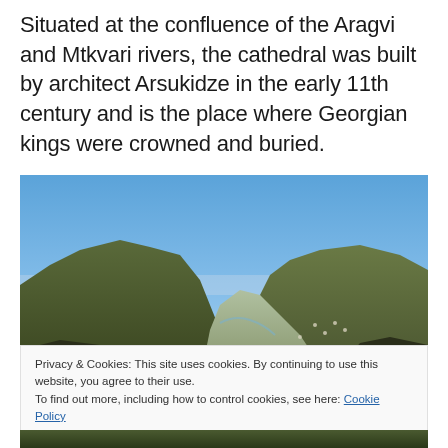Situated at the confluence of the Aragvi and Mtkvari rivers, the cathedral was built by architect Arsukidze in the early 11th century and is the place where Georgian kings were crowned and buried.
[Figure (photo): Panoramic landscape photograph showing mountains and a valley with blue sky, likely the confluence area near Mtskheta, Georgia.]
Privacy & Cookies: This site uses cookies. By continuing to use this website, you agree to their use.
To find out more, including how to control cookies, see here: Cookie Policy
Close and accept